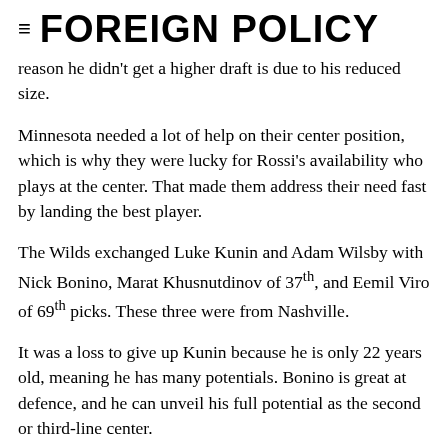≡ FOREIGN POLICY
reason he didn't get a higher draft is due to his reduced size.
Minnesota needed a lot of help on their center position, which is why they were lucky for Rossi's availability who plays at the center. That made them address their need fast by landing the best player.
The Wilds exchanged Luke Kunin and Adam Wilsby with Nick Bonino, Marat Khusnutdinov of 37th, and Eemil Viro of 69th picks. These three were from Nashville.
It was a loss to give up Kunin because he is only 22 years old, meaning he has many potentials. Bonino is great at defence, and he can unveil his full potential as the second or third-line center.
The Wilds drafting Khusnutdinov could not go unnoticed, as